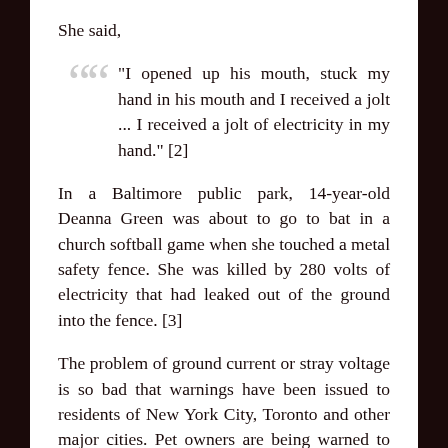She said,
"I opened up his mouth, stuck my hand in his mouth and I received a jolt ... I received a jolt of electricity in my hand." [2]
In a Baltimore public park, 14-year-old Deanna Green was about to go to bat in a church softball game when she touched a metal safety fence. She was killed by 280 volts of electricity that had leaked out of the ground into the fence. [3]
The problem of ground current or stray voltage is so bad that warnings have been issued to residents of New York City, Toronto and other major cities. Pet owners are being warned to take precautions when they walk their animals on